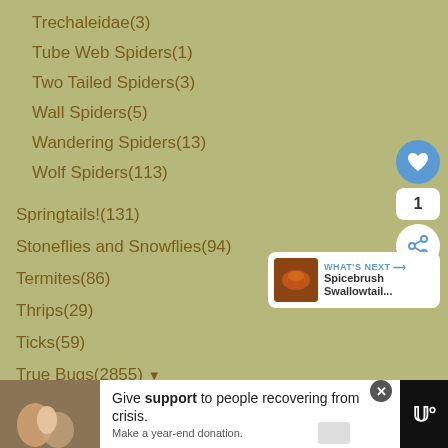Trechaleidae(3)
Tube Web Spiders(1)
Two Tailed Spiders(3)
Wall Spiders(5)
Wandering Spiders(13)
Wolf Spiders(113)
Springtails!(131)
Stoneflies and Snowflies(94)
Termites(86)
Thrips(29)
Ticks(59)
True Bugs(2855) ▼
Assassin Bugs(780) ▼
Ambush Bugs(46)
Bark Bugs(1)
Bedbugs(109)
Big Eyed Bugs(1)
Broad Headed Bugs(15)
[Figure (other): Social interaction buttons: heart/like button (blue circle), count badge showing 1, share button (white circle with share icon)]
[Figure (other): What's Next widget showing a thumbnail of Spicebrush Swallowtail with navigation arrow]
[Figure (other): Advertisement banner at bottom: Give support to people recovering from crisis. Make a year-end donation. With hands image and Tidal logo.]